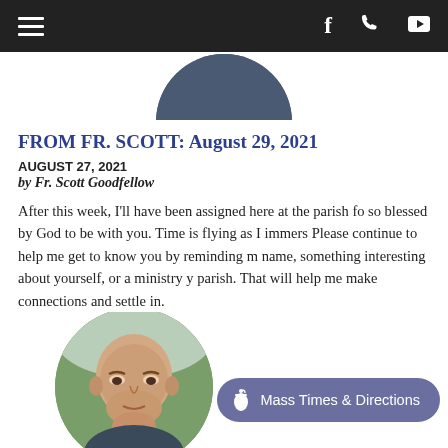Navigation bar with hamburger menu, Facebook, phone, and YouTube icons
[Figure (photo): Partial circular cropped profile photo at top of page, showing bottom portion of a person in dark clothing]
FROM FR. SCOTT: August 29, 2021
AUGUST 27, 2021
by Fr. Scott Goodfellow
After this week, I'll have been assigned here at the parish fo so blessed by God to be with you. Time is flying as I immers Please continue to help me get to know you by reminding m name, something interesting about yourself, or a ministry y parish. That will help me make connections and settle in.
[Figure (photo): Circular cropped photo of Fr. Scott Goodfellow, a bald man, visible from forehead to chin, with greenery in background]
Mass Times & Directions